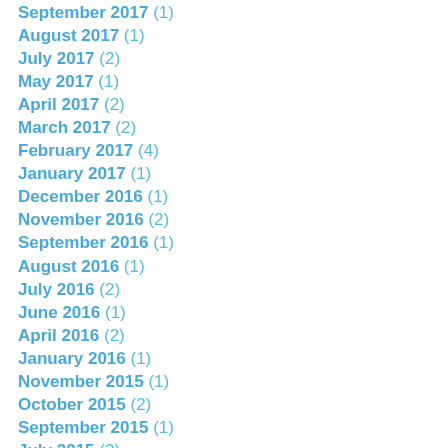September 2017 (1)
August 2017 (1)
July 2017 (2)
May 2017 (1)
April 2017 (2)
March 2017 (2)
February 2017 (4)
January 2017 (1)
December 2016 (1)
November 2016 (2)
September 2016 (1)
August 2016 (1)
July 2016 (2)
June 2016 (1)
April 2016 (2)
January 2016 (1)
November 2015 (1)
October 2015 (2)
September 2015 (1)
July 2015 (3)